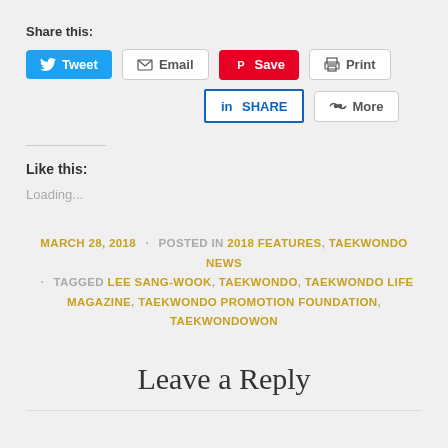Share this:
[Figure (screenshot): Social sharing buttons: Tweet (Twitter/blue), Email (gray outline), Save (Pinterest/red), Print (gray outline), SHARE (LinkedIn/blue outline), More (gray outline)]
Like this:
Loading...
MARCH 28, 2018 · POSTED IN 2018 FEATURES, TAEKWONDO NEWS · TAGGED LEE SANG-WOOK, TAEKWONDO, TAEKWONDO LIFE MAGAZINE, TAEKWONDO PROMOTION FOUNDATION, TAEKWONDOWON
Leave a Reply